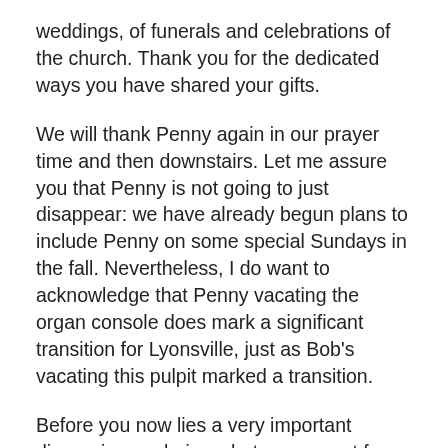weddings, of funerals and celebrations of the church. Thank you for the dedicated ways you have shared your gifts.
We will thank Penny again in our prayer time and then downstairs. Let me assure you that Penny is not going to just disappear: we have already begun plans to include Penny on some special Sundays in the fall. Nevertheless, I do want to acknowledge that Penny vacating the organ console does mark a significant transition for Lyonsville, just as Bob's vacating this pulpit marked a transition.
Before you now lies a very important discussion exploring what you expect from worship, what you expect from the musicians who help lead worship. It is an opportunity to be more purposeful in the shared activities which move you from being a bunch of people who happen to be at the